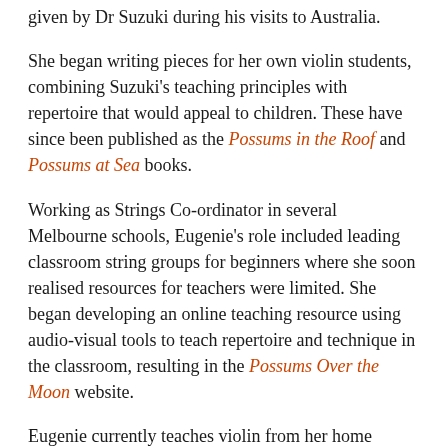given by Dr Suzuki during his visits to Australia.
She began writing pieces for her own violin students, combining Suzuki's teaching principles with repertoire that would appeal to children. These have since been published as the Possums in the Roof and Possums at Sea books.
Working as Strings Co-ordinator in several Melbourne schools, Eugenie's role included leading classroom string groups for beginners where she soon realised resources for teachers were limited. She began developing an online teaching resource using audio-visual tools to teach repertoire and technique in the classroom, resulting in the Possums Over the Moon website.
Eugenie currently teaches violin from her home studio in the Yarra Ranges, while continuing to work on her music publishing projects.